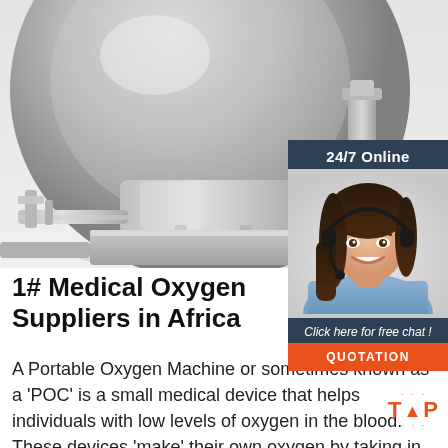[Figure (photo): Close-up photo of a large industrial/medical oxygen tank or pressure vessel, metallic silver/grey color, on a concrete base, with pipes and fittings visible. White studio-like background.]
[Figure (photo): Chat widget overlay with dark blue background. Top: '24/7 Online' text. Middle: photo of a smiling woman with headset. Bottom: 'Click here for free chat!' text and orange 'QUOTATION' button.]
1# Medical Oxygen Suppliers in Africa
A Portable Oxygen Machine or sometimes known as a 'POC' is a small medical device that helps individuals with low levels of oxygen in the blood. These devices 'make' their own oxygen by taking in